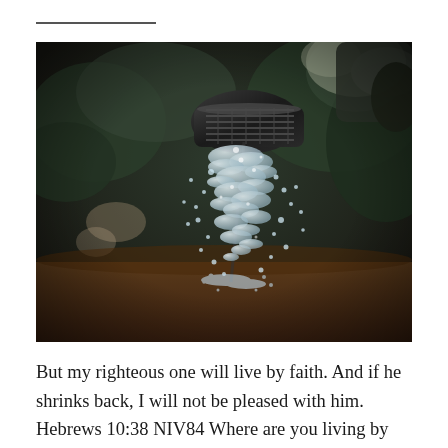[Figure (photo): A close-up photograph of water streaming from a black watering can spout, with sparkling droplets cascading downward. The background is blurred with dark green foliage and warm earth tones.]
But my righteous one will live by faith. And if he shrinks back, I will not be pleased with him. Hebrews 10:38 NIV84 Where are you living by